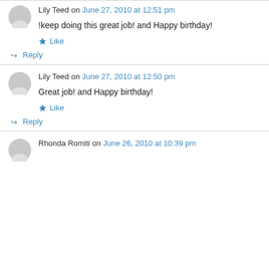Lily Teed on June 27, 2010 at 12:51 pm
!keep doing this great job! and Happy birthday!
Like
↪ Reply
Lily Teed on June 27, 2010 at 12:50 pm
Great job! and Happy birthday!
Like
↪ Reply
Rhonda Romiti on June 26, 2010 at 10:39 pm